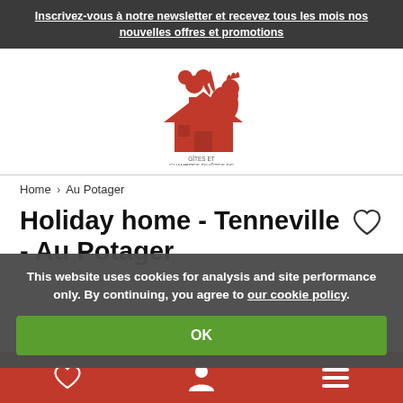Inscrivez-vous à notre newsletter et recevez tous les mois nos nouvelles offres et promotions
[Figure (logo): Gîtes et Chambres d'Hôtes de Wallonie logo — red rooster and house silhouette with text]
Home › Au Potager
Holiday home - Tenneville - Au Potager
This website uses cookies for analysis and site performance only. By continuing, you agree to our cookie policy.
OK
Bottom navigation bar with heart, user, and menu icons